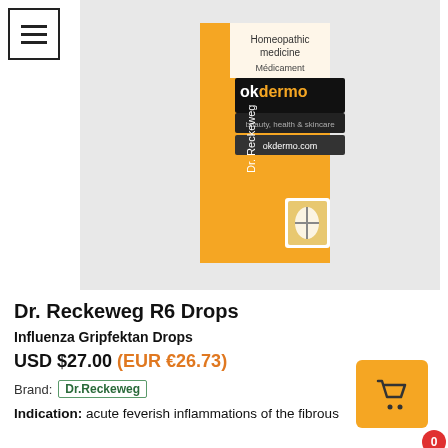[Figure (photo): Product photo of Dr. Reckeweg R6 Drops box — orange packaging with 'Dr. Reckeweg' branding, labeled 'Homeopathic medicine / Médicament', with okdermo.com watermark overlay]
Dr. Reckeweg R6 Drops
Influenza Gripfektan Drops
USD $27.00 (EUR €26.73)
Brand: Dr.Reckeweg
Indication: acute feverish inflammations of the fibrous